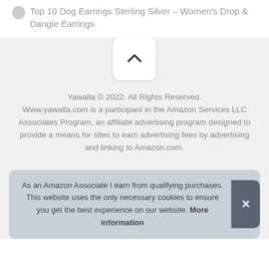Top 10 Dog Earrings Sterling Silver – Women's Drop & Dangle Earrings
[Figure (other): Scroll to top button with upward chevron arrow on light gray background]
Yawalla © 2022. All Rights Reserved. Www.yawalla.com is a participant in the Amazon Services LLC Associates Program, an affiliate advertising program designed to provide a means for sites to earn advertising fees by advertising and linking to Amazon.com.
As an Amazon Associate I earn from qualifying purchases. This website uses the only necessary cookies to ensure you get the best experience on our website. More information